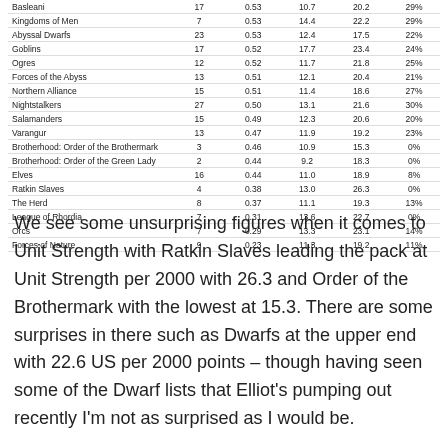| Basleani | 17 | 0.53 | 10.7 | 20.2 | 29% |
| Kingdoms of Men | 7 | 0.53 | 14.4 | 22.2 | 29% |
| Abyssal Dwarfs | 23 | 0.53 | 12.4 | 17.5 | 22% |
| Goblins | 17 | 0.52 | 17.7 | 23.4 | 24% |
| Ogres | 12 | 0.52 | 11.7 | 21.8 | 25% |
| Forces of the Abyss | 13 | 0.51 | 12.1 | 20.4 | 21% |
| Northern Alliance | 15 | 0.51 | 11.4 | 18.6 | 27% |
| Nightstalkers | 27 | 0.50 | 13.1 | 21.6 | 30% |
| Salamanders | 15 | 0.49 | 12.3 | 20.6 | 20% |
| Varangur | 13 | 0.47 | 11.9 | 19.2 | 23% |
| Brotherhood: Order of the Brothermark | 3 | 0.46 | 10.9 | 15.3 | 0% |
| Brotherhood: Order of the Green Lady | 2 | 0.44 | 9.2 | 18.3 | 0% |
| Elves | 16 | 0.44 | 11.0 | 18.9 | 8% |
| Ratkin Slaves | 4 | 0.38 | 13.0 | 26.3 | 0% |
| The Herd | 8 | 0.37 | 11.1 | 19.3 | 13% |
| League of Rhordia | 7 | 0.31 | 13.6 | 22.7 | 0% |
| Orcs | 7 | 0.29 | 13.3 | 23.1 | 14% |
| Forces of Nature | 9 | 0.23 | 11.3 | 19.2 | 11% |
We see some unsurprising figures when it comes to Unit Strength with Ratkin Slaves leading the pack at Unit Strength per 2000 with 26.3 and Order of the Brothermark with the lowest at 15.3. There are some surprises in there such as Dwarfs at the upper end with 22.6 US per 2000 points – though having seen some of the Dwarf lists that Elliot's pumping out recently I'm not as surprised as I would be.